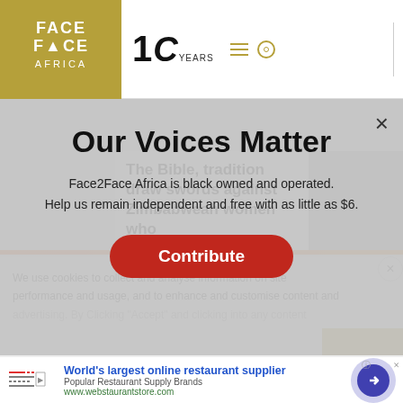Face2Face Africa — 10 Years logo and navigation header
Our Voices Matter
Face2Face Africa is black owned and operated. Help us remain independent and free with as little as $6.
Contribute
Contributor's Guide
Work@ Pana Genius
The Bible, tradition draw swords against Zimbabwean women who
We use cookies to collect and analyse information on site performance and usage, and to enhance and customise content and
World's largest online restaurant supplier
Popular Restaurant Supply Brands
www.webstaurantstore.com